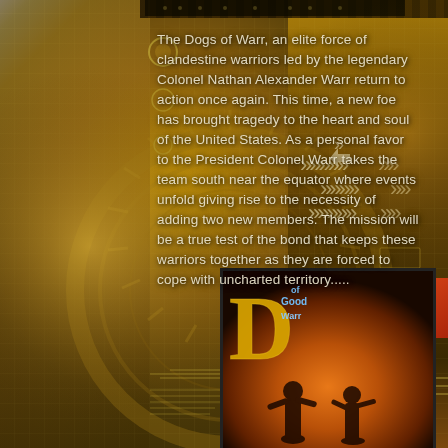[Figure (illustration): Dark golden-brown sci-fi/military themed background with tech circuit patterns, chevron arrows on right side, gear/compass imagery, and decorative tech lines. Red accent panel on right. Bottom half shows a book cover with large gold letter D, blue text, and silhouette of armed figures against orange flames.]
The Dogs of Warr, an elite force of clandestine warriors led by the legendary Colonel Nathan Alexander Warr return to action once again. This time, a new foe has brought tragedy to the heart and soul of the United States. As a personal favor to the President Colonel Warr takes the team south near the equator where events unfold giving rise to the necessity of adding two new members. The mission will be a true test of the bond that keeps these warriors together as they are forced to cope with uncharted territory.....